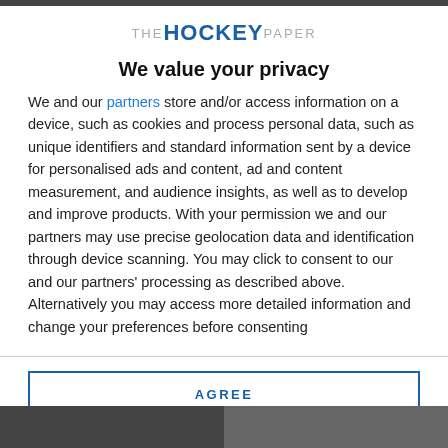[Figure (logo): The Hockey Paper logo with 'THE' in grey, 'HOCKEY' in bold blue, 'PAPER' in grey]
We value your privacy
We and our partners store and/or access information on a device, such as cookies and process personal data, such as unique identifiers and standard information sent by a device for personalised ads and content, ad and content measurement, and audience insights, as well as to develop and improve products. With your permission we and our partners may use precise geolocation data and identification through device scanning. You may click to consent to our and our partners' processing as described above. Alternatively you may access more detailed information and change your preferences before consenting
AGREE
MORE OPTIONS